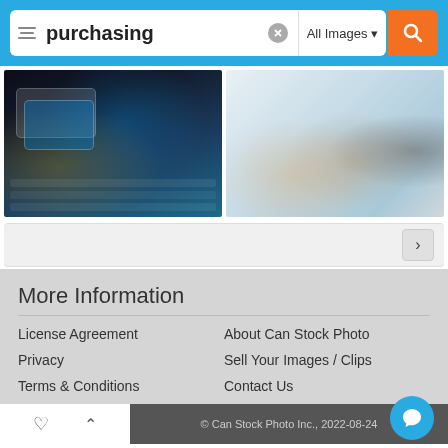[Figure (screenshot): Search bar with filter icon, 'purchasing' search term, clear button, 'All Images' dropdown, and orange search button]
[Figure (photo): Left: credit cards and smartphone on laptop keyboard with digital payment visuals. Right: couple meeting with advisor at desk.]
[Figure (screenshot): Pagination navigation bar with next arrow button]
More Information
License Agreement
About Can Stock Photo
Privacy
Sell Your Images / Clips
Terms & Conditions
Contact Us
© Can Stock Photo Inc., 2022-08-24